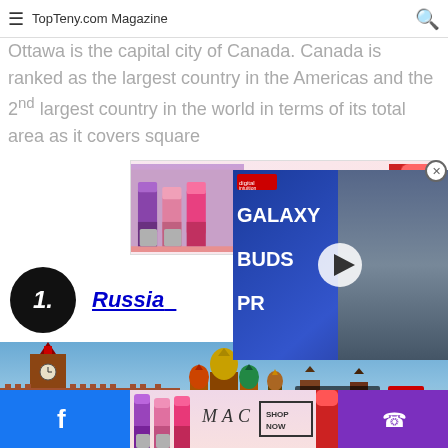TopTeny.com Magazine
Ottawa is the capital city of Canada. Canada is ranked as the largest country in the Americas and the 2nd largest country in the world in terms of its total area as it covers square
[Figure (other): MAC cosmetics advertisement banner showing lipsticks and SHOP NOW box]
[Figure (other): Galaxy Buds Pro video overlay with a man and play button]
1. Russia
[Figure (photo): Photo of Moscow Kremlin and St. Basil's Cathedral under blue sky]
[Figure (other): MAC cosmetics advertisement banner at the bottom showing lipsticks and SHOP NOW box]
Facebook share button and phone icon bottom bar